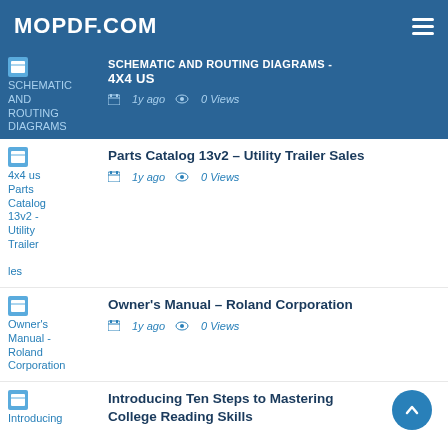MOPDF.COM
SCHEMATIC AND ROUTING DIAGRAMS - 4x4 us | 1y ago | 0 Views
Parts Catalog 13v2 - Utility Trailer Sales | 1y ago | 0 Views
Owner's Manual - Roland Corporation | 1y ago | 0 Views
Introducing Ten Steps to Mastering College Reading Skills